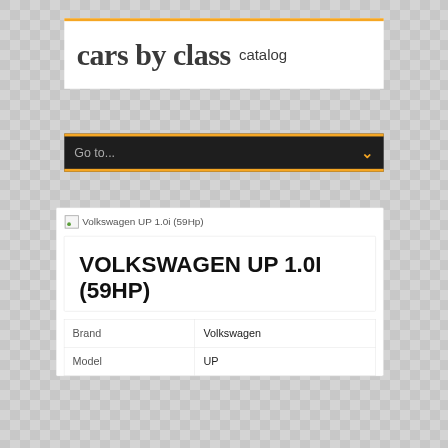cars by class catalog
Go to...
Volkswagen UP 1.0i (59Hp)
VOLKSWAGEN UP 1.0I (59HP)
| Brand |  |
| --- | --- |
| Brand | Volkswagen |
| Model | UP |